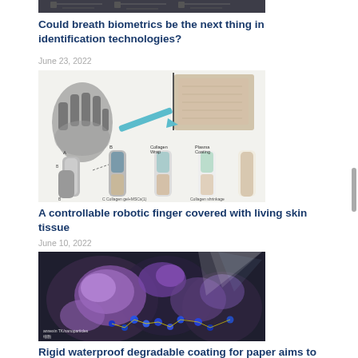[Figure (photo): Partial top image of a technology-related photo, cropped at top of page]
Could breath biometrics be the next thing in identification technologies?
June 23, 2022
[Figure (illustration): Scientific illustration of a robotic finger covered with living skin tissue, showing diagrams of the construction process including collagen layers and finger assembly steps]
A controllable robotic finger covered with living skin tissue
June 10, 2022
[Figure (illustration): Artistic rendering of nanoparticles interacting with biological tissue, showing purple and blue spherical particles with light beams in a textured background, labeled with annotation text]
Rigid waterproof degradable coating for paper aims to